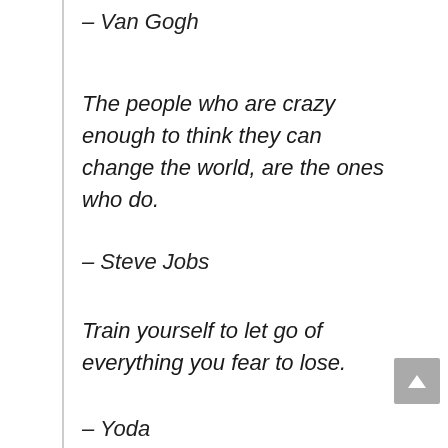– Van Gogh
The people who are crazy enough to think they can change the world, are the ones who do.
– Steve Jobs
Train yourself to let go of everything you fear to lose.
– Yoda